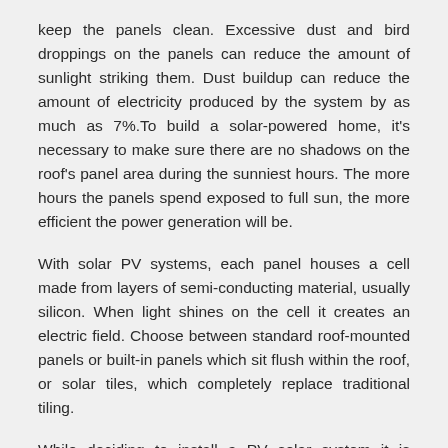keep the panels clean. Excessive dust and bird droppings on the panels can reduce the amount of sunlight striking them. Dust buildup can reduce the amount of electricity produced by the system by as much as 7%.To build a solar-powered home, it's necessary to make sure there are no shadows on the roof's panel area during the sunniest hours. The more hours the panels spend exposed to full sun, the more efficient the power generation will be.
With solar PV systems, each panel houses a cell made from layers of semi-conducting material, usually silicon. When light shines on the cell it creates an electric field. Choose between standard roof-mounted panels or built-in panels which sit flush within the roof, or solar tiles, which completely replace traditional tiling.
While deciding to install a PV solar system it is important to remember that such a system is a long-term investment. In many locations, solar power is a good choice from a financial perspective. Even if the cost of solar power is found to be marginally more expensive than electricity purchased from a utility, homeowners may wish to install solar power to avoid